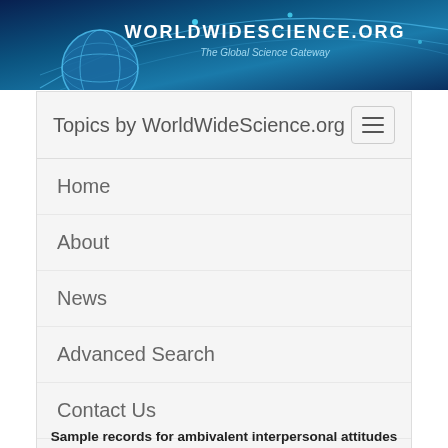[Figure (logo): WorldWideScience.org banner with globe and network lines on dark blue background, with text 'WORLDWIDESCIENCE.ORG The Global Science Gateway']
Topics by WorldWideScience.org
Home
About
News
Advanced Search
Contact Us
Site Map
Help
Sample records for ambivalent interpersonal attitudes